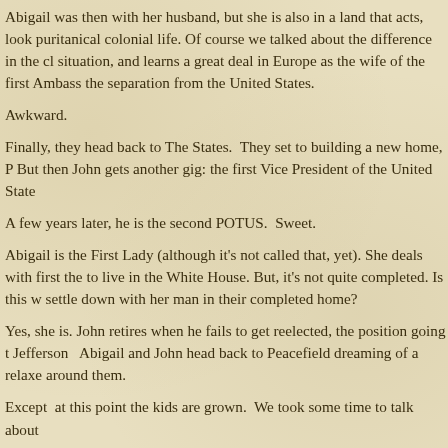Abigail was then with her husband, but she is also in a land that acts, look puritanical colonial life. Of course we talked about the difference in the cl situation, and learns a great deal in Europe as the wife of the first Ambass the separation from the United States.
Awkward.
Finally, they head back to The States.  They set to building a new home, P But then John gets another gig: the first Vice President of the United State
A few years later, he is the second POTUS.  Sweet.
Abigail is the First Lady (although it's not called that, yet). She deals with first the to live in the White House. But, it's not quite completed. Is this w settle down with her man in their completed home?
Yes, she is. John retires when he fails to get reelected, the position going t Jefferson   Abigail and John head back to Peacefield dreaming of a relaxe around them.
Except  at this point the kids are grown.  We took some time to talk about